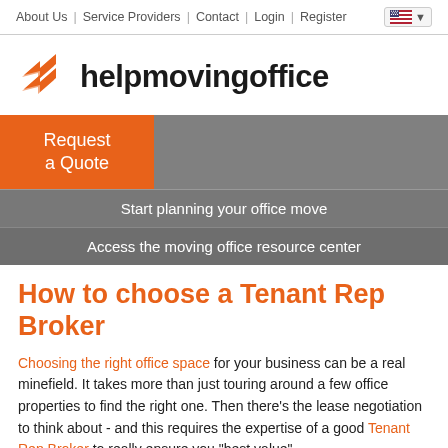About Us | Service Providers | Contact | Login | Register
[Figure (logo): helpmovingoffice logo with orange double-chevron arrows and bold dark text]
[Figure (infographic): Orange 'Request a Quote' button on left with grey banner showing 'Start planning your office move' and 'Access the moving office resource center']
How to choose a Tenant Rep Broker
Choosing the right office space for your business can be a real minefield. It takes more than just touring around a few office properties to find the right one. Then there's the lease negotiation to think about - and this requires the expertise of a good Tenant Rep Broker to really ensure you "best value"